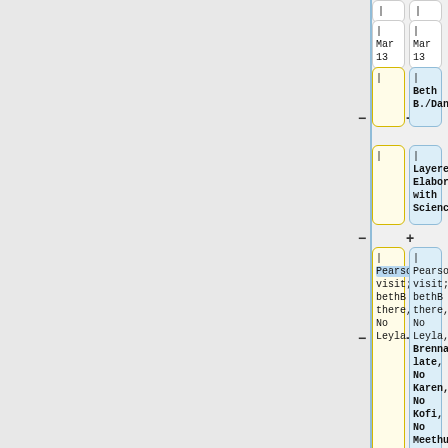| Left cell | Right cell |
| --- | --- |
| | Mar 13 | | Mar 13 |
| | | | Beth B./Daniel/ML |
| | | | Layered Elaboration with ScienceKit |
| | Pearson visit; bethB there, No Leyla | | Pearson visit; bethB there, No Leyla, Brenna late, No Karen, No Kofi, No Meethu Daniel Pauw and visiting student |